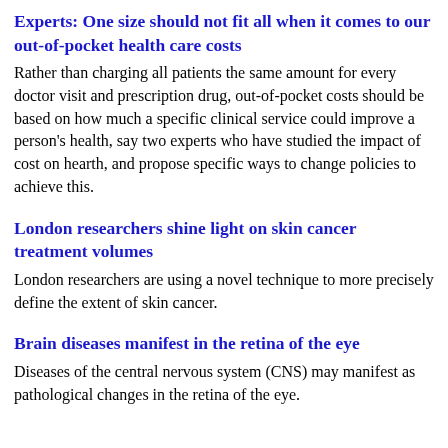Experts: One size should not fit all when it comes to our out-of-pocket health care costs
Rather than charging all patients the same amount for every doctor visit and prescription drug, out-of-pocket costs should be based on how much a specific clinical service could improve a person's health, say two experts who have studied the impact of cost on hearth, and propose specific ways to change policies to achieve this.
London researchers shine light on skin cancer treatment volumes
London researchers are using a novel technique to more precisely define the extent of skin cancer.
Brain diseases manifest in the retina of the eye
Diseases of the central nervous system (CNS) may manifest as pathological changes in the retina of the eye.